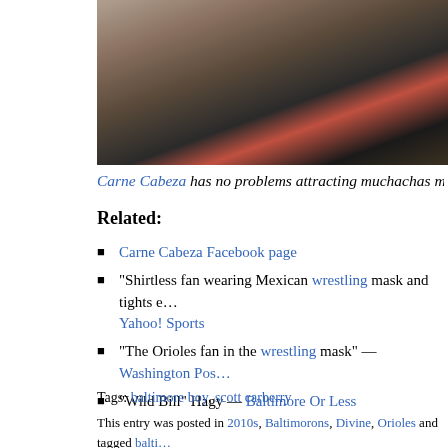[Figure (photo): Photo of people at what appears to be a sports venue, partially cropped]
Carne Cabeza has no problems attracting muchachas muy boni…
Related:
Carne Cabeza Facebook page
"Shirtless fan wearing Mexican wrestling mask and tights e… — Yahoo! Sports
"The Orioles fan in the wrestling mask" — Washington Pos…
"Wild Bill" Hagy — Baltimore Or Less
Tags: baltimore boy, scott carberry
This entry was posted in 2010s, Baltimorons, Divine, Orioles and tagged balti… permalink.